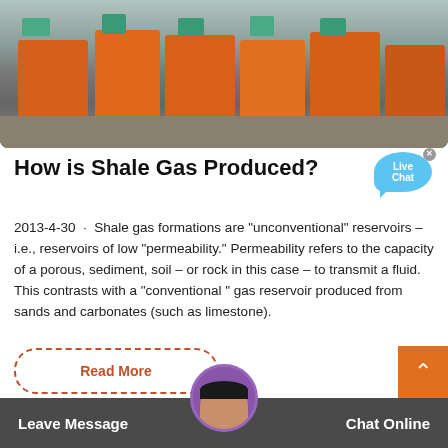[Figure (photo): Industrial orange machinery/equipment (likely sand washing or aggregate processing machines) lined up at a construction or mining site, viewed from the front]
How is Shale Gas Produced?
2013-4-30 · Shale gas formations are "unconventional" reservoirs – i.e., reservoirs of low "permeability." Permeability refers to the capacity of a porous, sediment, soil – or rock in this case – to transmit a fluid. This contrasts with a "conventional " gas reservoir produced from sands and carbonates (such as limestone).
Read More
Leave Message
Chat Online